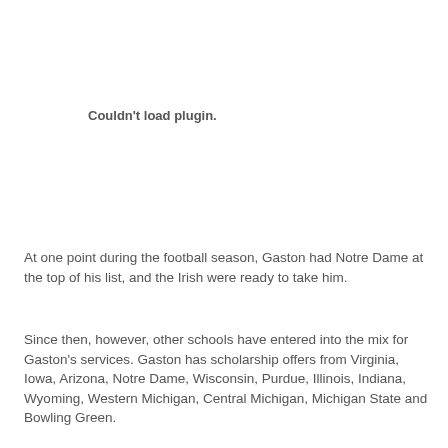Couldn't load plugin.
At one point during the football season, Gaston had Notre Dame at the top of his list, and the Irish were ready to take him.
Since then, however, other schools have entered into the mix for Gaston's services. Gaston has scholarship offers from Virginia, Iowa, Arizona, Notre Dame, Wisconsin, Purdue, Illinois, Indiana, Wyoming, Western Michigan, Central Michigan, Michigan State and Bowling Green.